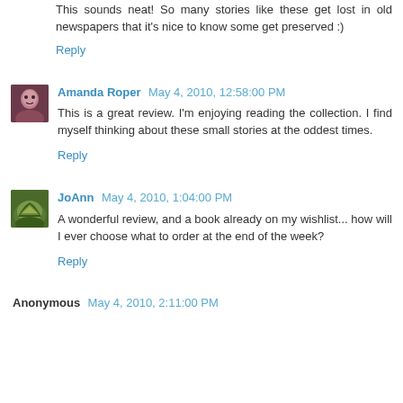This sounds neat! So many stories like these get lost in old newspapers that it's nice to know some get preserved :)
Reply
Amanda Roper  May 4, 2010, 12:58:00 PM
This is a great review. I'm enjoying reading the collection. I find myself thinking about these small stories at the oddest times.
Reply
JoAnn  May 4, 2010, 1:04:00 PM
A wonderful review, and a book already on my wishlist... how will I ever choose what to order at the end of the week?
Reply
Anonymous  May 4, 2010, 2:11:00 PM